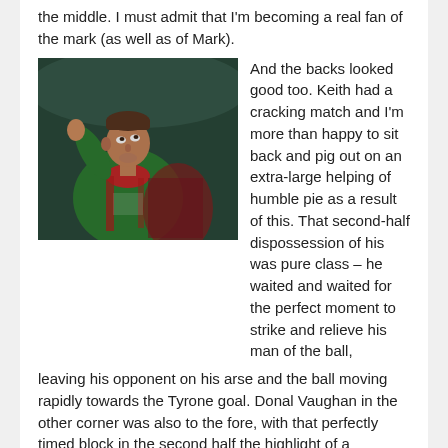the middle.  I must admit that I'm becoming a real fan of the mark (as well as of Mark).
[Figure (photo): A GAA footballer wearing a green and red jersey looking upward, reaching with one arm raised, in an action shot during a match.]
And the backs looked good too.  Keith had a cracking match and I'm more than happy to sit back and pig out on an extra-large helping of humble pie as a result of this.  That second-half dispossession of his was pure class – he waited and waited for the perfect moment to strike and relieve his man of the ball, leaving his opponent on his arse and the ball moving rapidly towards the Tyrone goal.  Donal Vaughan in the other corner was also to the fore, with that perfectly timed block in the second half the highlight of a confident and dogged performance by the Ballinrobe man.